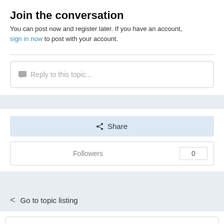Join the conversation
You can post now and register later. If you have an account, sign in now to post with your account.
Reply to this topic...
Share
Followers  0
Go to topic listing
Recently Browsing  0 members